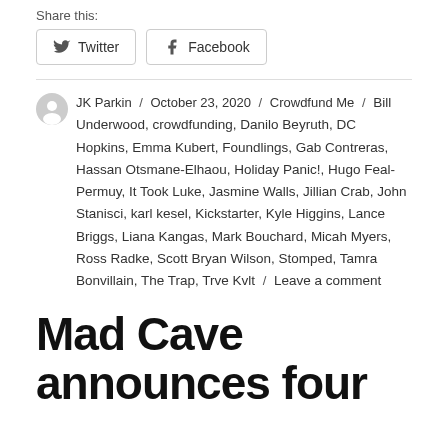Share this:
[Figure (other): Twitter and Facebook share buttons]
JK Parkin / October 23, 2020 / Crowdfund Me / Bill Underwood, crowdfunding, Danilo Beyruth, DC Hopkins, Emma Kubert, Foundlings, Gab Contreras, Hassan Otsmane-Elhaou, Holiday Panic!, Hugo Feal-Permuy, It Took Luke, Jasmine Walls, Jillian Crab, John Stanisci, karl kesel, Kickstarter, Kyle Higgins, Lance Briggs, Liana Kangas, Mark Bouchard, Micah Myers, Ross Radke, Scott Bryan Wilson, Stomped, Tamra Bonvillain, The Trap, Trve Kvlt / Leave a comment
Mad Cave announces four